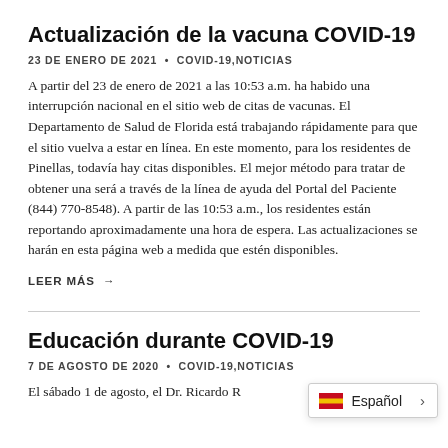Actualización de la vacuna COVID-19
23 DE ENERO DE 2021 • COVID-19,NOTICIAS
A partir del 23 de enero de 2021 a las 10:53 a.m. ha habido una interrupción nacional en el sitio web de citas de vacunas. El Departamento de Salud de Florida está trabajando rápidamente para que el sitio vuelva a estar en línea. En este momento, para los residentes de Pinellas, todavía hay citas disponibles. El mejor método para tratar de obtener una será a través de la línea de ayuda del Portal del Paciente (844) 770-8548). A partir de las 10:53 a.m., los residentes están reportando aproximadamente una hora de espera. Las actualizaciones se harán en esta página web a medida que estén disponibles.
LEER MÁS →
Educación durante COVID-19
7 DE AGOSTO DE 2020 • COVID-19,NOTICIAS
El sábado 1 de agosto, el Dr. Ricardo R...